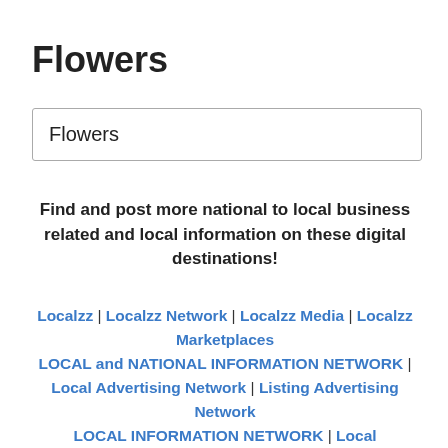Flowers
| Flowers |
| --- |
Find and post more national to local business related and local information on these digital destinations!
Localzz | Localzz Network | Localzz Media | Localzz Marketplaces LOCAL and NATIONAL INFORMATION NETWORK | Local Advertising Network | Listing Advertising Network LOCAL INFORMATION NETWORK | Local Information Marketplaces | National Information Network | National Information Marketplaces